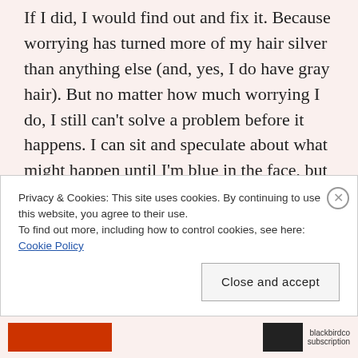If I did, I would find out and fix it. Because worrying has turned more of my hair silver than anything else (and, yes, I do have gray hair). But no matter how much worrying I do, I still can't solve a problem before it happens. I can sit and speculate about what might happen until I'm blue in the face, but I can't do anything about it until what's going to happen actually happens.
What good does worrying about it do?
There is a difference between worrying and
Privacy & Cookies: This site uses cookies. By continuing to use this website, you agree to their use.
To find out more, including how to control cookies, see here: Cookie Policy